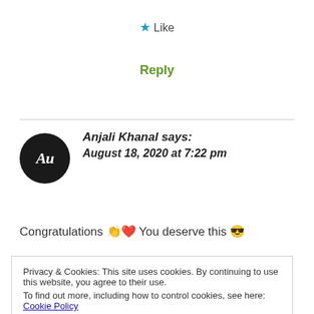★ Like
Reply
Anjali Khanal says: August 18, 2020 at 7:22 pm
Congratulations 👏❤️ You deserve this 😎
Privacy & Cookies: This site uses cookies. By continuing to use this website, you agree to their use. To find out more, including how to control cookies, see here: Cookie Policy
Close and accept